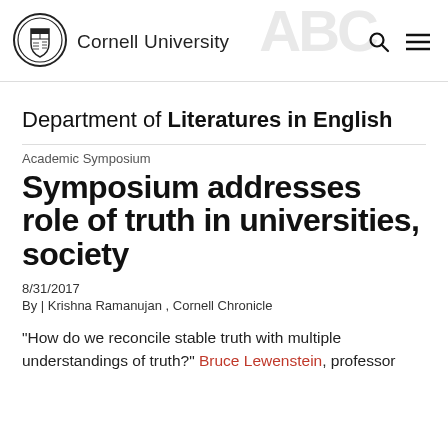Cornell University
Department of Literatures in English
Academic Symposium
Symposium addresses role of truth in universities, society
8/31/2017
By | Krishna Ramanujan , Cornell Chronicle
“How do we reconcile stable truth with multiple understandings of truth?” Bruce Lewenstein, professor